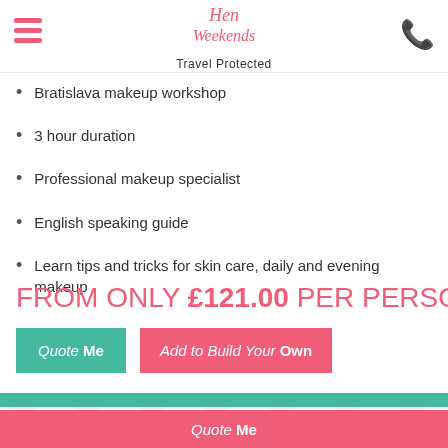Hen Weekends — Travel Protected
Bratislava makeup workshop
3 hour duration
Professional makeup specialist
English speaking guide
Learn tips and tricks for skin care, daily and evening makeup
FROM ONLY £121.00 PER PERSON
Quote Me | Add to Build Your Own
Packages That Include This Activity
Quote Me